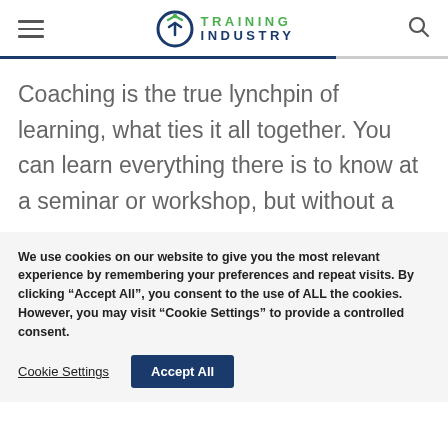Training Industry
Coaching is the true lynchpin of learning, what ties it all together. You can learn everything there is to know at a seminar or workshop, but without a
We use cookies on our website to give you the most relevant experience by remembering your preferences and repeat visits. By clicking “Accept All”, you consent to the use of ALL the cookies. However, you may visit “Cookie Settings” to provide a controlled consent.
Cookie Settings  Accept All